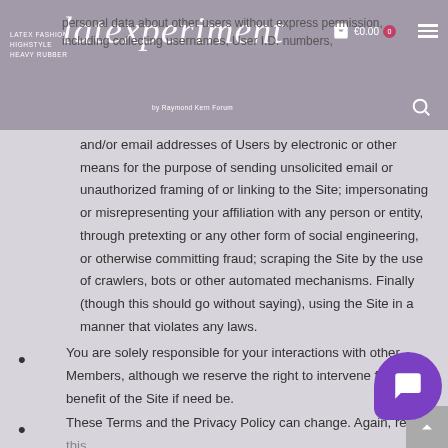LATEX FASHION / HIGHSTYLE / HEAVY RUBBER — latexperiment — by Raymond Kern Forum — €0.00 — cart
personal data about other users without express permission, including collecting usernames, User I.D. numbers, and/or email addresses of Users by electronic or other means for the purpose of sending unsolicited email or unauthorized framing of or linking to the Site; impersonating or misrepresenting your affiliation with any person or entity, through pretexting or any other form of social engineering, or otherwise committing fraud; scraping the Site by the use of crawlers, bots or other automated mechanisms. Finally (though this should go without saying), using the Site in a manner that violates any laws.
You are solely responsible for your interactions with other Members, although we reserve the right to intervene for the benefit of the Site if need be.
These Terms and the Privacy Policy can change. Again, read this document and our other policies carefully. We'll try to let you know